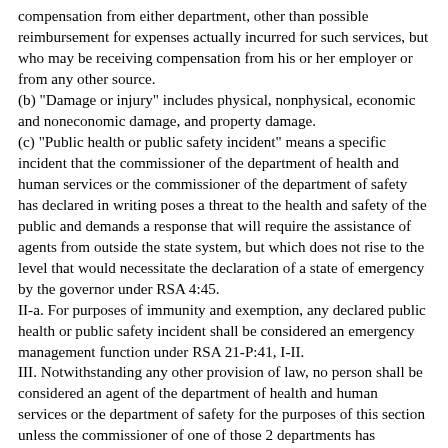compensation from either department, other than possible reimbursement for expenses actually incurred for such services, but who may be receiving compensation from his or her employer or from any other source.
(b) "Damage or injury" includes physical, nonphysical, economic and noneconomic damage, and property damage.
(c) "Public health or public safety incident" means a specific incident that the commissioner of the department of health and human services or the commissioner of the department of safety has declared in writing poses a threat to the health and safety of the public and demands a response that will require the assistance of agents from outside the state system, but which does not rise to the level that would necessitate the declaration of a state of emergency by the governor under RSA 4:45.
II-a. For purposes of immunity and exemption, any declared public health or public safety incident shall be considered an emergency management function under RSA 21-P:41, I-II.
III. Notwithstanding any other provision of law, no person shall be considered an agent of the department of health and human services or the department of safety for the purposes of this section unless the commissioner of one of those 2 departments has declared in writing to the governor that a public health or public safety incident exists and the appropriate department acknowledges in writing the person's status as an agent. Such written acknowledgment shall identify the person, indicate the department of the state for which the person will be acting: